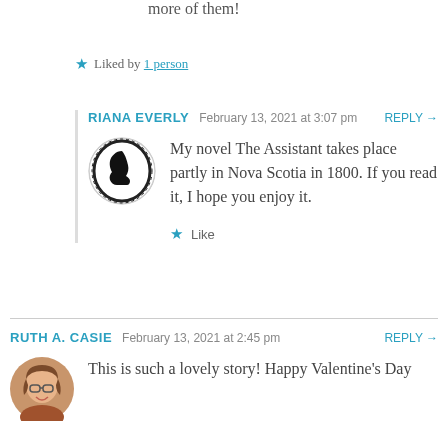more of them!
★ Liked by 1 person
RIANA EVERLY   February 13, 2021 at 3:07 pm   REPLY →
My novel The Assistant takes place partly in Nova Scotia in 1800. If you read it, I hope you enjoy it.
★ Like
RUTH A. CASIE   February 13, 2021 at 2:45 pm   REPLY →
This is such a lovely story! Happy Valentine's Day